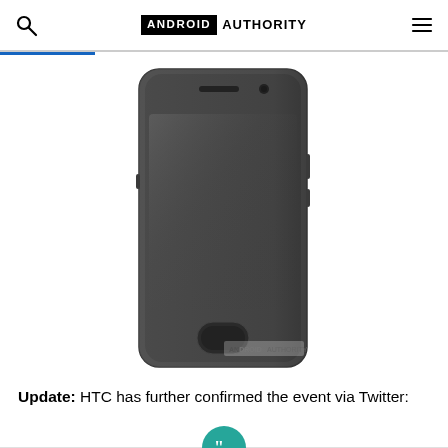ANDROID AUTHORITY
[Figure (photo): Render of an HTC smartphone in dark gray/black color, front-facing view, showing the device with a rounded rectangular shape, front camera and speaker at top, home button at bottom, and an Android Authority watermark in the lower right corner.]
Update: HTC has further confirmed the event via Twitter: